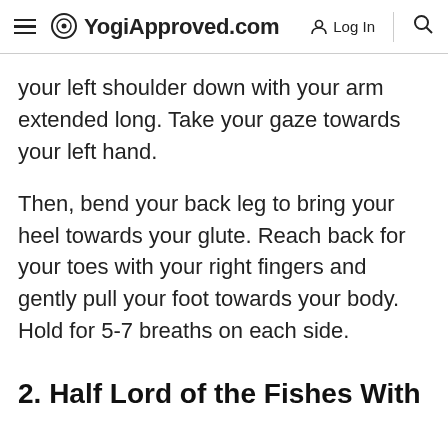YogiApproved.com  Log In
your left shoulder down with your arm extended long. Take your gaze towards your left hand.
Then, bend your back leg to bring your heel towards your glute. Reach back for your toes with your right fingers and gently pull your foot towards your body. Hold for 5-7 breaths on each side.
2. Half Lord of the Fishes With